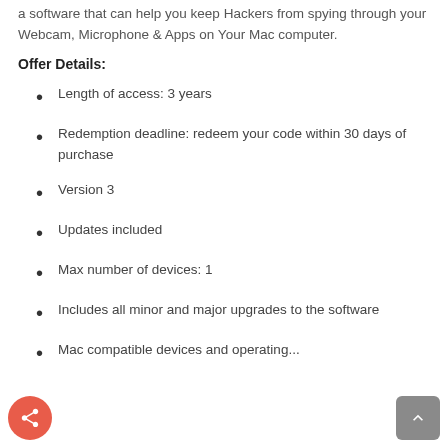a software that can help you keep Hackers from spying through your Webcam, Microphone & Apps on Your Mac computer.
Offer Details:
Length of access: 3 years
Redemption deadline: redeem your code within 30 days of purchase
Version 3
Updates included
Max number of devices: 1
Includes all minor and major upgrades to the software
Mac compatible devices and operating...